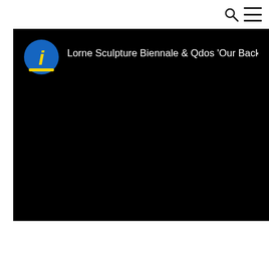[Figure (screenshot): Black video player block with a blue circular 'i' logo and white text reading 'Lorne Sculpture Biennale & Qdos Our Backyard']